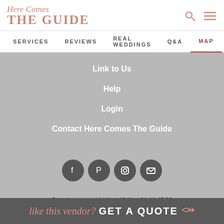Here Comes THE GUIDE
SERVICES   REVIEWS   REAL WEDDINGS   Q&A   MAP
Link to Us
Help
Login
Contact Here Comes The Guide
[Figure (illustration): Social media icons: Facebook, Pinterest, Instagram, Email]
Page last updated: Wed, 19 May 21 10:47:36
© 1989 - 2022, Hopscotch Press, Inc. All text is written and
like this vendor? GET A QUOTE →